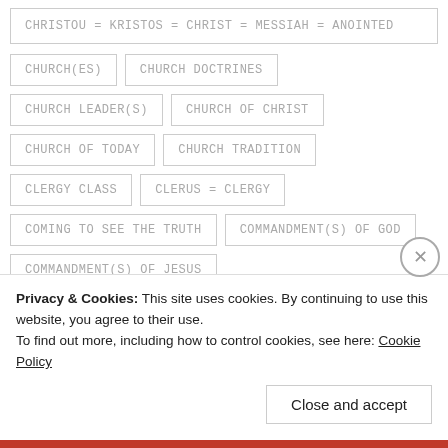CHRISTOU = KRISTOS = CHRIST = MESSIAH = ANOINTED
CHURCH(ES)
CHURCH DOCTRINES
CHURCH LEADER(S)
CHURCH OF CHRIST
CHURCH OF TODAY
CHURCH TRADITION
CLERGY CLASS
CLERUS = CLERGY
COMING TO SEE THE TRUTH
COMMANDMENT(S) OF GOD
COMMANDMENT(S) OF JESUS
Privacy & Cookies: This site uses cookies. By continuing to use this website, you agree to their use. To find out more, including how to control cookies, see here: Cookie Policy
Close and accept